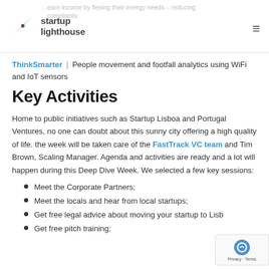startup lighthouse
ThinkSmarter | People movement and footfall analytics using WiFi and IoT sensors
Key Activities
Home to public initiatives such as Startup Lisboa and Portugal Ventures, no one can doubt about this sunny city offering a high quality of life. the week will be taken care of the FastTrack VC team and Tim Brown, Scaling Manager. Agenda and activities are ready and a lot will happen during this Deep Dive Week. We selected a few key sessions:
Meet the Corporate Partners;
Meet the locals and hear from local startups;
Get free legal advice about moving your startup to Lisb...
Get free pitch training;